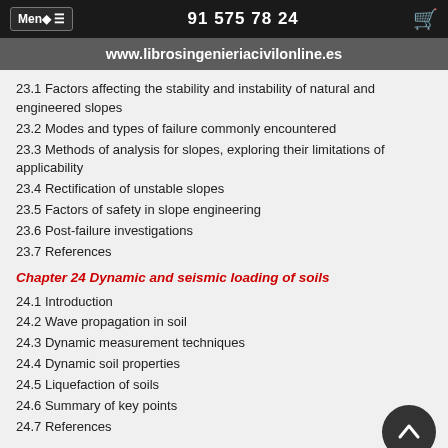Menú ≡   91 575 78 24
www.librosingenieriacivilonline.es
23.1 Factors affecting the stability and instability of natural and engineered slopes
23.2 Modes and types of failure commonly encountered
23.3 Methods of analysis for slopes, exploring their limitations of applicability
23.4 Rectification of unstable slopes
23.5 Factors of safety in slope engineering
23.6 Post-failure investigations
23.7 References
Chapter 24 Dynamic and seismic loading of soils
24.1 Introduction
24.2 Wave propagation in soil
24.3 Dynamic measurement techniques
24.4 Dynamic soil properties
24.5 Liquefaction of soils
24.6 Summary of key points
24.7 References